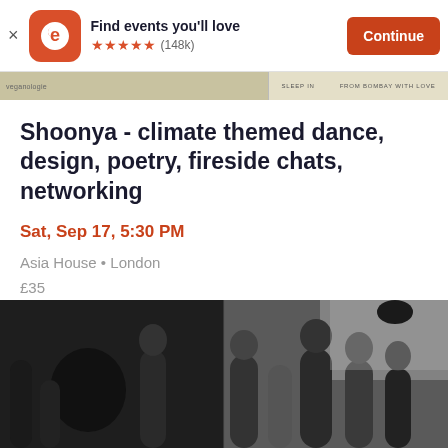Find events you'll love ★★★★★ (148k) Continue
[Figure (photo): Top image strip showing a venue/event space with text 'SLEEP IN' and 'FROM BOMBAY WITH LOVE']
Shoonya - climate themed dance, design, poetry, fireside chats, networking
Sat, Sep 17, 5:30 PM
Asia House • London
£35
[Figure (photo): Photo of people networking at an indoor event, black and white crowd shot]